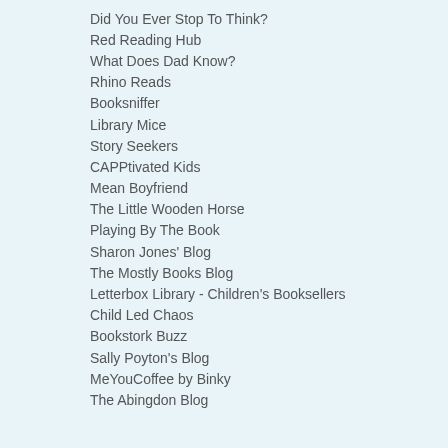Did You Ever Stop To Think?
Red Reading Hub
What Does Dad Know?
Rhino Reads
Booksniffer
Library Mice
Story Seekers
CAPPtivated Kids
Mean Boyfriend
The Little Wooden Horse
Playing By The Book
Sharon Jones' Blog
The Mostly Books Blog
Letterbox Library - Children's Booksellers
Child Led Chaos
Bookstork Buzz
Sally Poyton's Blog
MeYouCoffee by Binky
The Abingdon Blog